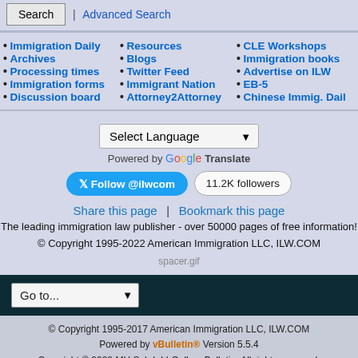Search | Advanced Search
• Immigration Daily
• Archives
• Processing times
• Immigration forms
• Discussion board
• Resources
• Blogs
• Twitter Feed
• Immigrant Nation
• Attorney2Attorney
• CLE Workshops
• Immigration books
• Advertise on ILW
• EB-5
• Chinese Immig. Daily
Select Language
Powered by Google Translate
Follow @ilwcom  11.2K followers
Share this page | Bookmark this page
The leading immigration law publisher - over 50000 pages of free information!
© Copyright 1995-2022 American Immigration LLC, ILW.COM
spacer.gif
Go to...
© Copyright 1995-2017 American Immigration LLC, ILW.COM
Powered by vBulletin® Version 5.5.4
Copyright © 2022 MH Sub I, LLC dba vBulletin. All rights reserved.
All times are GMT-5. This page was generated at 12:04 PM.